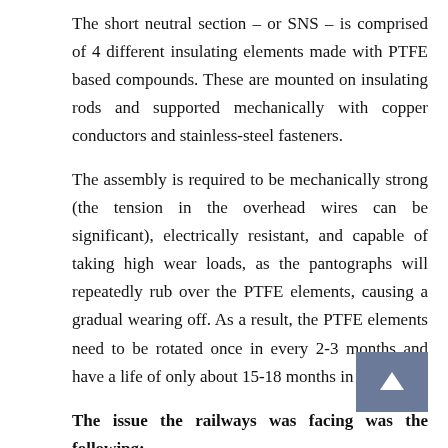The short neutral section – or SNS – is comprised of 4 different insulating elements made with PTFE based compounds. These are mounted on insulating rods and supported mechanically with copper conductors and stainless-steel fasteners.
The assembly is required to be mechanically strong (the tension in the overhead wires can be significant), electrically resistant, and capable of taking high wear loads, as the pantographs will repeatedly rub over the PTFE elements, causing a gradual wearing off. As a result, the PTFE elements need to be rotated once in every 2-3 months and have a life of only about 15-18 months in total.
The issue the railways was facing was the following:
1. The SNS assemblies were being imported from